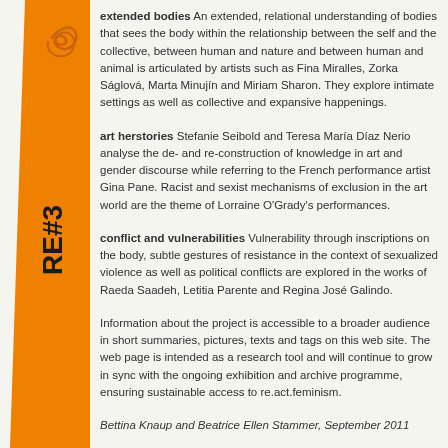[Figure (illustration): Orange decorative sidebar on the left with 'RE#3' text rotated vertically and decorative swirl/scroll ornament]
extended bodies An extended, relational understanding of bodies that sees the body within the relationship between the self and the collective, between human and nature and between human and animal is articulated by artists such as Fina Miralles, Zorka Ságlová, Marta Minujín and Miriam Sharon. They explore intimate settings as well as collective and expansive happenings.
art herstories Stefanie Seibold and Teresa María Díaz Nerio analyse the de- and re-construction of knowledge in art and gender discourse while referring to the French performance artist Gina Pane. Racist and sexist mechanisms of exclusion in the art world are the theme of Lorraine O'Grady's performances.
conflict and vulnerabilities Vulnerability through inscriptions on the body, subtle gestures of resistance in the context of sexualized violence as well as political conflicts are explored in the works of Raeda Saadeh, Letitia Parente and Regina José Galindo.
Information about the project is accessible to a broader audience in short summaries, pictures, texts and tags on this web site. The web page is intended as a research tool and will continue to grow in sync with the ongoing exhibition and archive programme, ensuring sustainable access to re.act.feminism.
Bettina Knaup and Beatrice Ellen Stammer, September 2011